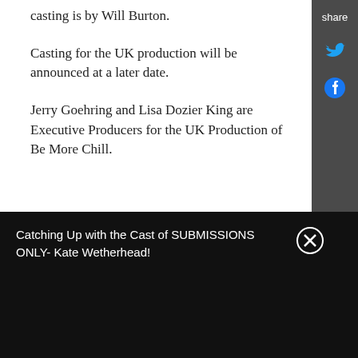casting is by Will Burton.
Casting for the UK production will be announced at a later date.
Jerry Goehring and Lisa Dozier King are Executive Producers for the UK Production of Be More Chill.
RELATED STORIES
[Figure (photo): Group of performers on stage with colorful lighting]
Grace Mouat and Nathanie Ong Join...
[Figure (photo): Man in front of camera with text overlay about Joe Iconis]
VIDEO: Joe Iconis Celebrates West...
[Figure (photo): Be More Chill logo with colorful digital glitch effect]
BE MORE CHILL Confirms it Will...
Catching Up with the Cast of SUBMISSIONS ONLY- Kate Wetherhead!